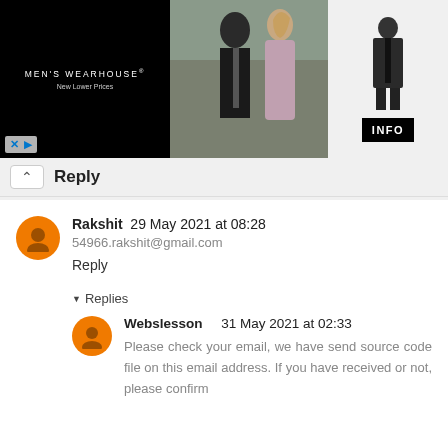[Figure (screenshot): Men's Wearhouse advertisement banner showing a couple in formal wear and a man in a suit, with INFO button]
Reply
Rakshit  29 May 2021 at 08:28
54966.rakshit@gmail.com
Reply
▼ Replies
Webslesson  31 May 2021 at 02:33
Please check your email, we have send source code file on this email address. If you have received or not, please confirm